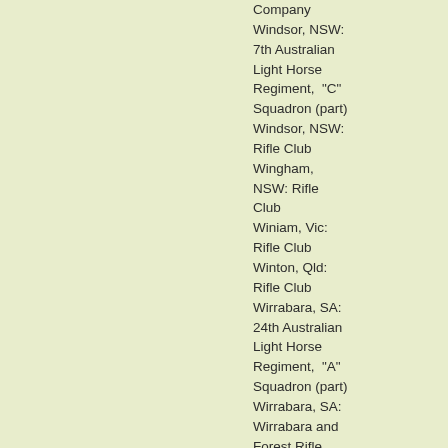Company Windsor, NSW: 7th Australian Light Horse Regiment, "C" Squadron (part) Windsor, NSW: Rifle Club Wingham, NSW: Rifle Club Winiam, Vic: Rifle Club Winton, Qld: Rifle Club Wirrabara, SA: 24th Australian Light Horse Regiment, "A" Squadron (part) Wirrabara, SA: Wirrabara and Forest Rifle Club Wodonga, Vic: 43rd Australian Infantry Regiment, "F" Company (part)